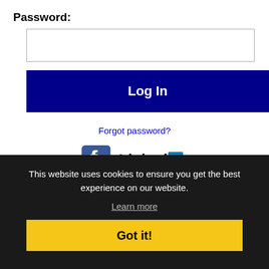Password:
[Figure (screenshot): Password input field (empty text box)]
Log In
Forgot password?
[Figure (logo): Facebook and LinkedIn social media icons/logos]
Get the latest Pioneer jobs by following @MichetPL on
Boca Raton RSS job feeds
This website uses cookies to ensure you get the best experience on our website.
Learn more
Got it!